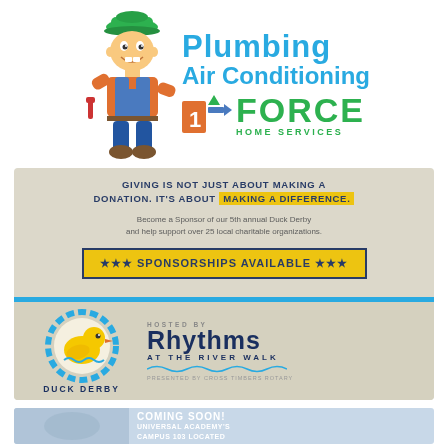[Figure (logo): 1 Force Home Services logo with cartoon plumber mascot in green cowboy hat; text reads 'Plumbing Air Conditioning FORCE HOME SERVICES' in teal and green]
[Figure (infographic): Duck Derby sponsorship flyer. Header text: 'GIVING IS NOT JUST ABOUT MAKING A DONATION. IT'S ABOUT MAKING A DIFFERENCE.' in yellow highlight. Body: 'Become a Sponsor of our 5th annual Duck Derby and help support over 25 local charitable organizations.' Banner: '*** SPONSORSHIPS AVAILABLE ***'. Bottom: Duck Derby logo and 'HOSTED BY RHYTHMS AT THE RIVER WALK, PRESENTED BY CROSS TIMBERS ROTARY']
[Figure (infographic): Coming soon banner for Universal Academy's Campus 103 Located...]